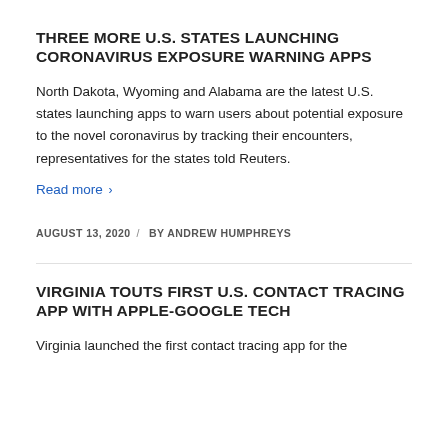THREE MORE U.S. STATES LAUNCHING CORONAVIRUS EXPOSURE WARNING APPS
North Dakota, Wyoming and Alabama are the latest U.S. states launching apps to warn users about potential exposure to the novel coronavirus by tracking their encounters, representatives for the states told Reuters.
Read more >
AUGUST 13, 2020  /  BY ANDREW HUMPHREYS
VIRGINIA TOUTS FIRST U.S. CONTACT TRACING APP WITH APPLE-GOOGLE TECH
Virginia launched the first contact tracing app for the